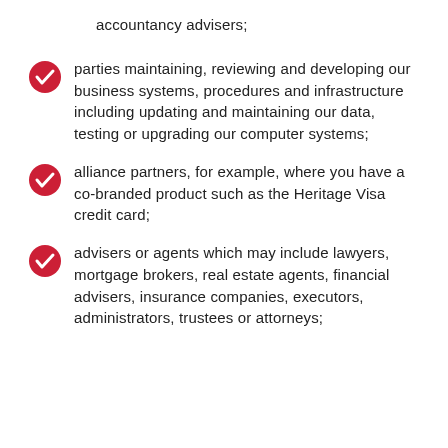accountancy advisers;
parties maintaining, reviewing and developing our business systems, procedures and infrastructure including updating and maintaining our data, testing or upgrading our computer systems;
alliance partners, for example, where you have a co-branded product such as the Heritage Visa credit card;
advisers or agents which may include lawyers, mortgage brokers, real estate agents, financial advisers, insurance companies, executors, administrators, trustees or attorneys;